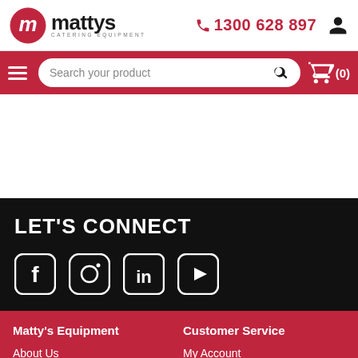[Figure (logo): Matty's Catering Equipment logo with red circle M icon and brand name]
1300 628 897
[Figure (screenshot): Search bar with 'Search your product' placeholder and cart icon showing (0)]
LET'S CONNECT
[Figure (illustration): Social media icons: Facebook, Instagram, LinkedIn, YouTube]
Matty's Equipment
Customer Service
About Us
Contact Us
My Account
Order History